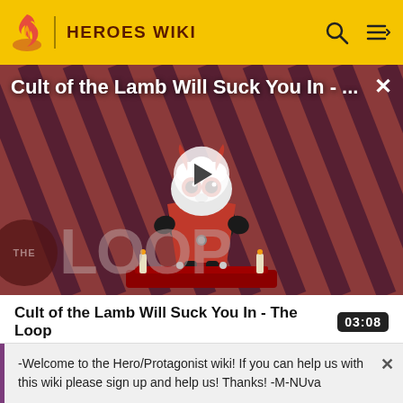HEROES WIKI
[Figure (screenshot): Video thumbnail for 'Cult of the Lamb Will Suck You In - The Loop' showing an animated lamb character in red and black on a striped background, with a play button overlay and 'THE LOOP' text badge. Video duration: 03:08.]
Cult of the Lamb Will Suck You In - The Loop
and Ezra on a mission to rescue him. On another
-Welcome to the Hero/Protagonist wiki! If you can help us with this wiki please sign up and help us! Thanks! -M-NUva